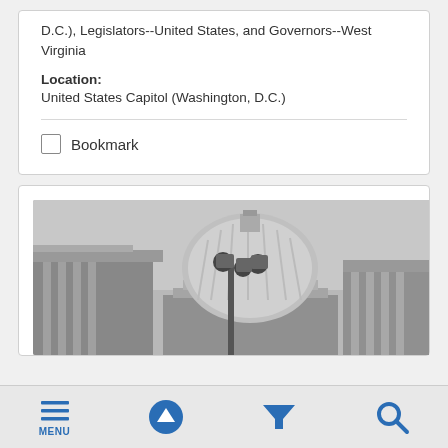D.C.), Legislators--United States, and Governors--West Virginia
Location:
United States Capitol (Washington, D.C.)
Bookmark
[Figure (photo): Black and white photograph of the United States Capitol building dome with street lamp in foreground]
MENU | (up arrow) | (filter) | (search)